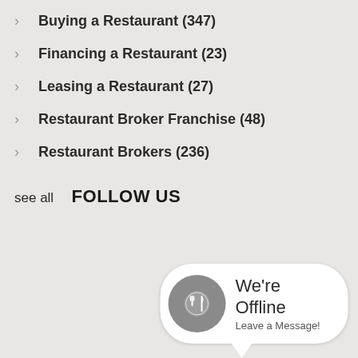Buying a Restaurant (347)
Financing a Restaurant (23)
Leasing a Restaurant (27)
Restaurant Broker Franchise (48)
Restaurant Brokers (236)
see all
FOLLOW US
[Figure (other): Chat widget showing offline status with restaurant icon (plate and utensils) and text: We're Offline Leave a Message!]